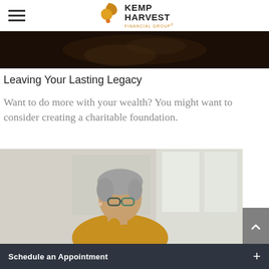Kemp Harvest Financial Group
[Figure (photo): Dark close-up photo of hands, cropped to a narrow strip at the top of the page]
Leaving Your Lasting Legacy
Want to do more with your wealth? You might want to consider creating a charitable foundation.
[Figure (photo): Photo of a middle-aged woman with short gray hair and glasses, wearing a mustard-yellow top, looking thoughtful with her hand to her chin, in a bright indoor setting]
Schedule an Appointment